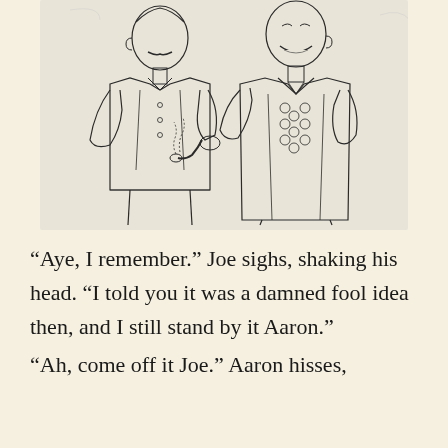[Figure (illustration): Black and white line drawing/sketch of two men standing facing each other. The man on the left has a mustache and is holding a pipe with smoke rising from it, wearing a vest and jacket. The man on the right is smiling broadly, also wearing a vest with buttons, and appears to be gesturing or speaking.]
“Aye, I remember.” Joe sighs, shaking his head. “I told you it was a damned fool idea then, and I still stand by it Aaron.”
“Ah, come off it Joe.” Aaron hisses,